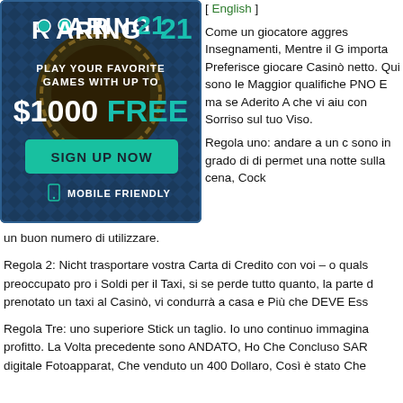[Figure (illustration): Roaring 21 casino advertisement banner. Dark blue/teal diamond pattern background with a poker chip. Text: ROARING 21, PLAY YOUR FAVORITE GAMES WITH UP TO $1000 FREE, SIGN UP NOW button in teal, MOBILE FRIENDLY with phone icon.]
[ English ]
Come un giocatore aggres Insegnamenti, Mentre il G importa Preferisce giocare Casinò netto. Qui sono le Maggior qualifiche PNO E ma se Aderito A che vi aiu con Sorriso sul tuo Viso.

Regola uno: andare a un c sono in grado di di permet una notte sulla cena, Cock un buon numero di utilizzare.
Regola 2: Nicht trasportare vostra Carta di Credito con voi – o quals preoccupato pro i Soldi per il Taxi, si se perde tutto quanto, la parte d prenotato un taxi al Casinò, vi condurrà a casa e Più che DEVE Ess
Regola Tre: uno superiore Stick un taglio. Io uno continuo immaginа profitto. La Volta precedente sono ANDATO, Ho Che Concluso SAR digitale Fotoapparat, Che venduto un 400 Dollaro, Così è stato Che